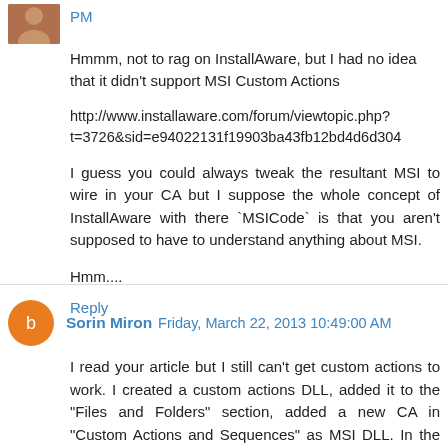PM
Hmmm, not to rag on InstallAware, but I had no idea that it didn't support MSI Custom Actions
http://www.installaware.com/forum/viewtopic.php?t=3726&sid=e94022131f19903ba43fb12bd4d6d304
I guess you could always tweak the resultant MSI to wire in your CA but I suppose the whole concept of InstallAware with there `MSICode` is that you aren't supposed to have to understand anything about MSI.
Hmm....
Reply
Sorin Miron  Friday, March 22, 2013 10:49:00 AM
I read your article but I still can't get custom actions to work. I created a custom actions DLL, added it to the "Files and Folders" section, added a new CA in "Custom Actions and Sequences" as MSI DLL. In the "DLL Filekey" what